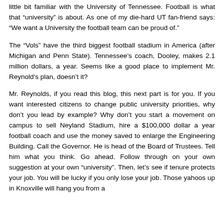little bit familiar with the University of Tennessee. Football is what that "university" is about. As one of my die-hard UT fan-friend says: "We want a University the football team can be proud of."
The "Vols" have the third biggest football stadium in America (after Michigan and Penn State). Tennessee's coach, Dooley, makes 2.1 million dollars, a year. Seems like a good place to implement Mr. Reynold's plan, doesn't it?
Mr. Reynolds, if you read this blog, this next part is for you. If you want interested citizens to change public university priorities, why don't you lead by example? Why don't you start a movement on campus to sell Neyland Stadium, hire a $100,000 dollar a year football coach and use the money saved to enlarge the Engineering Building. Call the Governor. He is head of the Board of Trustees. Tell him what you think. Go ahead. Follow through on your own suggestion at your own "university". Then, let's see if tenure protects your job. You will be lucky if you only lose your job. Those yahoos up in Knoxville will hang you from a